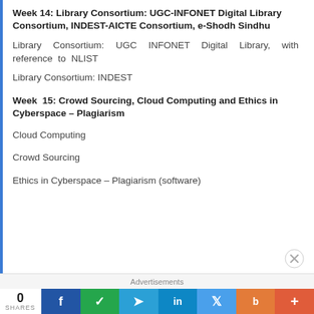Week 14: Library Consortium: UGC-INFONET Digital Library Consortium, INDEST-AICTE Consortium, e-Shodh Sindhu
Library Consortium: UGC INFONET Digital Library, with reference to NLIST
Library Consortium: INDEST
Week 15: Crowd Sourcing, Cloud Computing and Ethics in Cyberspace – Plagiarism
Cloud Computing
Crowd Sourcing
Ethics in Cyberspace – Plagiarism (software)
Advertisements